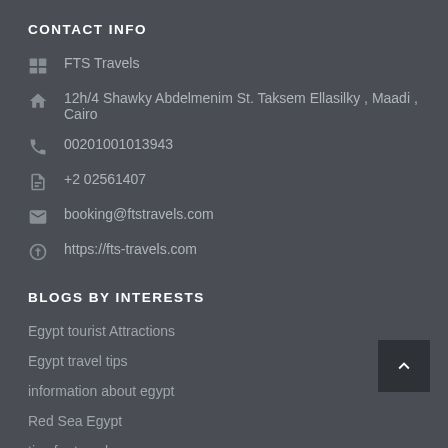CONTACT INFO
FTS Travels
12h/4 Shawky Abdelmenim St. Taksem Ellasilky , Maadi , Cairo
00201001013943
+2 02561407
booking@ftstravels.com
https://fts-travels.com
BLOGS BY INTERESTS
Egypt tourist Attractions
Egypt travel tips
information about egypt
Red Sea Egypt
tips for travel